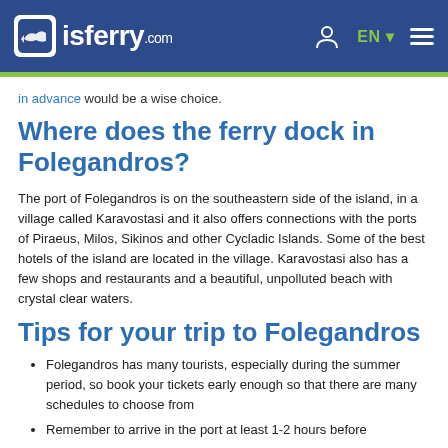isferry.com | EN | (navigation icons)
in advance would be a wise choice.
Where does the ferry dock in Folegandros?
The port of Folegandros is on the southeastern side of the island, in a village called Karavostasi and it also offers connections with the ports of Piraeus, Milos, Sikinos and other Cycladic Islands. Some of the best hotels of the island are located in the village. Karavostasi also has a few shops and restaurants and a beautiful, unpolluted beach with crystal clear waters.
Tips for your trip to Folegandros
Folegandros has many tourists, especially during the summer period, so book your tickets early enough so that there are many schedules to choose from
Remember to arrive in the port at least 1-2 hours before